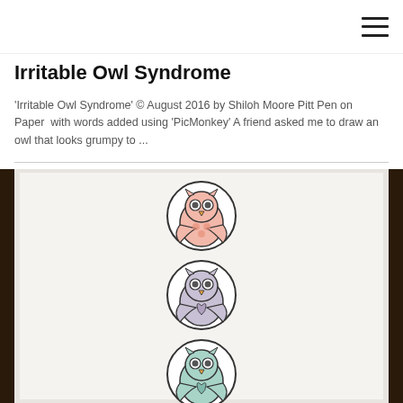Irritable Owl Syndrome
'Irritable Owl Syndrome' © August 2016 by Shiloh Moore Pitt Pen on Paper  with words added using 'PicMonkey' A friend asked me to draw an owl that looks grumpy to ...
[Figure (photo): Framed artwork showing three circular owl illustrations stacked vertically. Top owl has pink/salmon tones, middle owl has grey/lavender tones, bottom owl has mint/teal tones. Each circle contains a stylized owl drawing. The artwork is displayed in a dark wooden frame.]